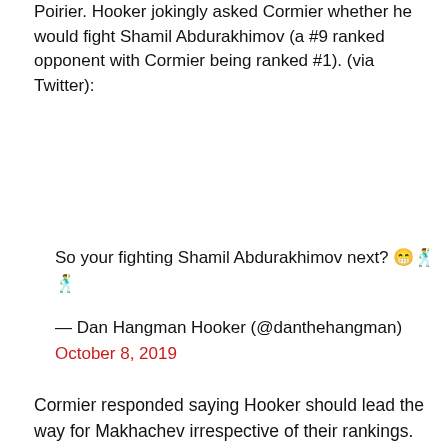Poirier. Hooker jokingly asked Cormier whether he would fight Shamil Abdurakhimov (a #9 ranked opponent with Cormier being ranked #1). (via Twitter):
So your fighting Shamil Abdurakhimov next? 😁🕺🕺
— Dan Hangman Hooker (@danthehangman) October 8, 2019
Cormier responded saying Hooker should lead the way for Makhachev irrespective of their rankings. (via Twitter):
[Figure (photo): PARIPESA advertisement banner with blue gradient background and woman figure on right side]
closely ranked. Both on streaks. AI fought you when you